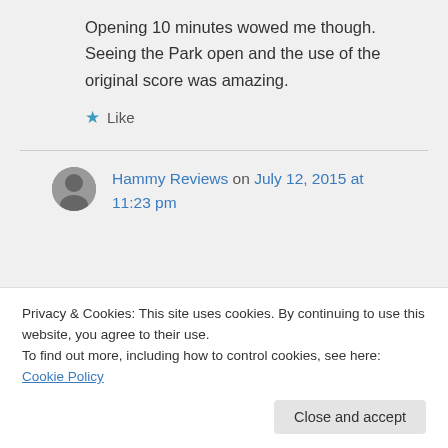Opening 10 minutes wowed me though. Seeing the Park open and the use of the original score was amazing.
★ Like
Hammy Reviews on July 12, 2015 at 11:23 pm
Privacy & Cookies: This site uses cookies. By continuing to use this website, you agree to their use.
To find out more, including how to control cookies, see here: Cookie Policy
Close and accept